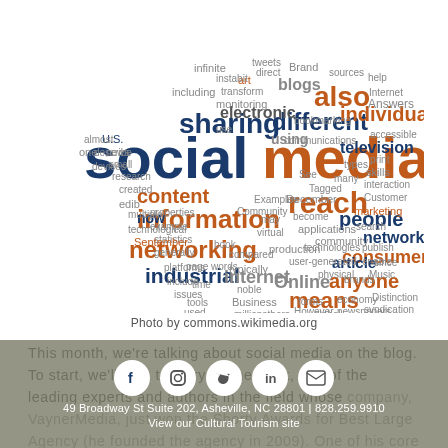[Figure (infographic): Social media word cloud with words like 'social', 'media', 'sharing', 'information', 'networking', 'industrial', 'internet', 'reach', 'people', 'network', 'consumers', 'content', 'anyone', 'Online', 'means', 'also', 'different', 'television', 'electronic', in orange, dark blue, and grey colors]
Photo by commons.wikimedia.org
This month, we're talking about social media on the blog. To start, we'll look to Gary Vaynerchuk, one of the leading experts and authors in the field whose company, VaynerMedia, just won the Shorty Awards for Best Large Agency (he founded the agency in 2009). One of his core philosophies is the concept that one is greater than zero. This simple concept can help
49 Broadway St Suite 202, Asheville, NC 28801 | 828.259.9910
View our Cultural Tourism site